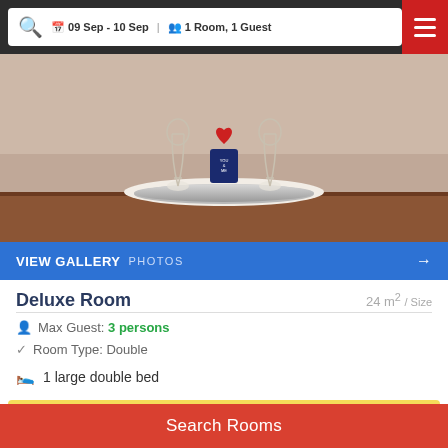09 Sep - 10 Sep  1 Room, 1 Guest
[Figure (photo): Hotel room decorative table setup with wine glasses, heart-shaped gift box, and white tablecloth on a wooden table]
VIEW GALLERY PHOTOS →
Deluxe Room
24 m² / Size
Max Guest: 3 persons
Room Type: Double
1 large double bed
Search Price ▶
Search Rooms